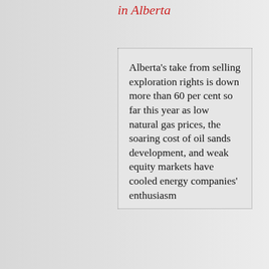in Alberta
Alberta's take from selling exploration rights is down more than 60 per cent so far this year as low natural gas prices, the soaring cost of oil sands development, and weak equity markets have cooled energy companies' enthusiasm